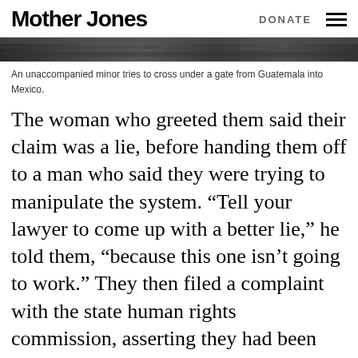Mother Jones | DONATE
[Figure (photo): Dark photo strip showing a scene at a border gate, partially visible at top of page]
An unaccompanied minor tries to cross under a gate from Guatemala into Mexico.
The woman who greeted them said their claim was a lie, before handing them off to a man who said they were trying to manipulate the system. “Tell your lawyer to come up with a better lie,” he told them, “because this one isn’t going to work.” They then filed a complaint with the state human rights commission, asserting they had been targeted by the police because they were indigenous Guatemalans. In the meantime, they were put in touch with Spector, who helped them build a case for claiming asylum. They had done exactly what Trump’s Remain in Mexico policy required; created a paper